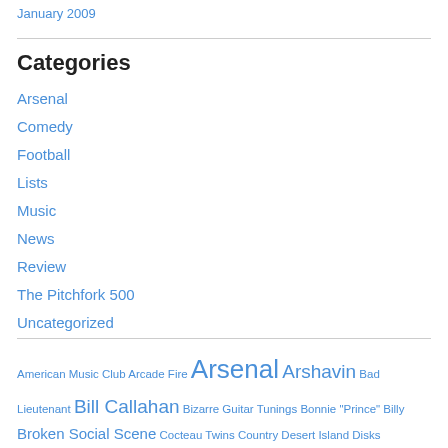January 2009
Categories
Arsenal
Comedy
Football
Lists
Music
News
Review
The Pitchfork 500
Uncategorized
American Music Club Arcade Fire Arsenal Arshavin Bad Lieutenant Bill Callahan Bizarre Guitar Tunings Bonnie "Prince" Billy Broken Social Scene Cocteau Twins Country Desert Island Disks Eboue Eboue is